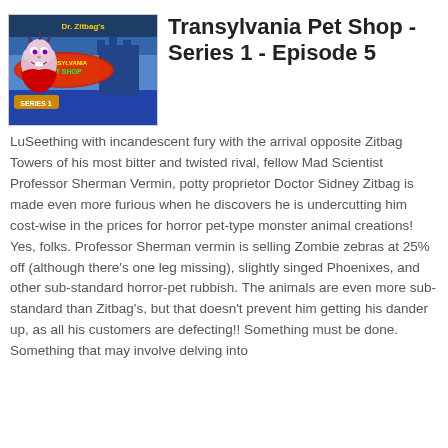[Figure (illustration): Animated show cover art for Dr. Zitbag's Transylvania Pet Shop Series 1, showing a cartoon vampire character with a colorful illustrated background including a castle and the show title text]
Transylvania Pet Shop - Series 1 - Episode 5
LuSeething with incandescent fury with the arrival opposite Zitbag Towers of his most bitter and twisted rival, fellow Mad Scientist Professor Sherman Vermin, potty proprietor Doctor Sidney Zitbag is made even more furious when he discovers he is undercutting him cost-wise in the prices for horror pet-type monster animal creations! Yes, folks. Professor Sherman vermin is selling Zombie zebras at 25% off (although there's one leg missing), slightly singed Phoenixes, and other sub-standard horror-pet rubbish. The animals are even more sub-standard than Zitbag's, but that doesn't prevent him getting his dander up, as all his customers are defecting!! Something must be done. Something that may involve delving into